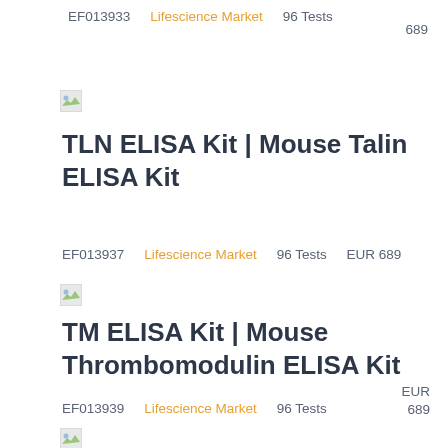EF013933   Lifescience Market   96 Tests   689
[Figure (illustration): Small thumbnail icon of a product image placeholder]
TLN ELISA Kit | Mouse Talin ELISA Kit
EF013937   Lifescience Market   96 Tests   EUR 689
[Figure (illustration): Small thumbnail icon of a product image placeholder]
TM ELISA Kit | Mouse Thrombomodulin ELISA Kit
EF013939   Lifescience Market   96 Tests   EUR 689
[Figure (illustration): Small thumbnail icon of a product image placeholder]